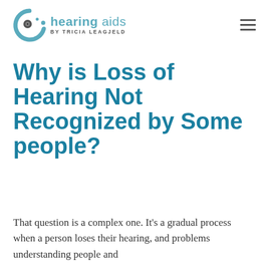hearing aids BY TRICIA LEAGJELD
Why is Loss of Hearing Not Recognized by Some people?
That question is a complex one. It's a gradual process when a person loses their hearing, and problems understanding people and